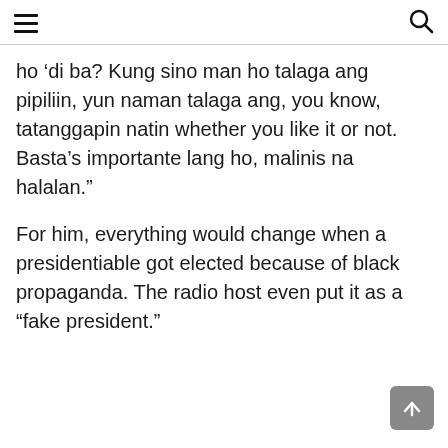[hamburger menu] [search icon]
ho ‘di ba? Kung sino man ho talaga ang pipiliin, yun naman talaga ang, you know, tatanggapin natin whether you like it or not. Basta’s importante lang ho, malinis na halalan.”
For him, everything would change when a presidentiable got elected because of black propaganda. The radio host even put it as a “fake president.”